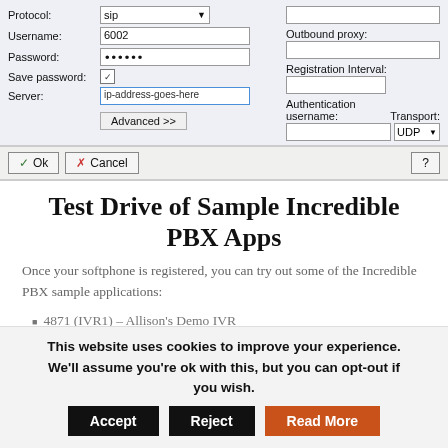[Figure (screenshot): Screenshot of a SIP account configuration dialog with fields: Protocol (sip), Username (6002), Password (••••••), Save password (checked), Server (ip-address-goes-here), Outbound proxy, Registration Interval, Authentication username, Transport (UDP), and Advanced >> button. Below the form are Ok, Cancel, and Help (?) buttons.]
Test Drive of Sample Incredible PBX Apps
Once your softphone is registered, you can try out some of the Incredible PBX sample applications:
4871 (IVR1) – Allison's Demo IVR
This website uses cookies to improve your experience. We'll assume you're ok with this, but you can opt-out if you wish.  Accept  Reject  Read More